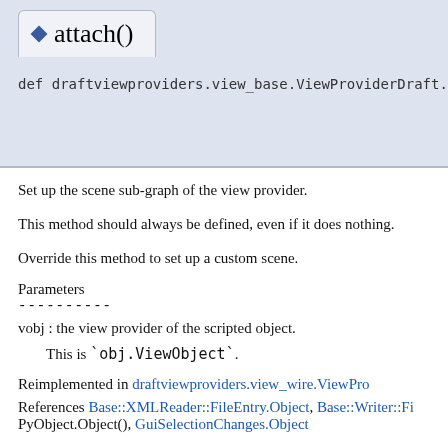attach()
def draftviewproviders.view_base.ViewProviderDraft.attach
Set up the scene sub-graph of the view provider.
This method should always be defined, even if it does nothing.
Override this method to set up a custom scene.
Parameters
----------
vobj : the view provider of the scripted object.
    This is `obj.ViewObject`.
Reimplemented in draftviewproviders.view_wire.ViewPro
References Base::XMLReader::FileEntry.Object, Base::Writer::Fi
PyObject.Object(), GuiSelectionChanges.Object